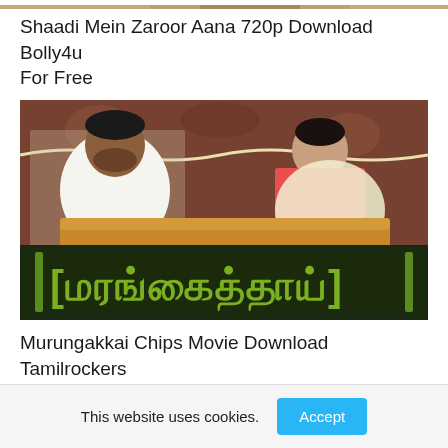[Figure (photo): Partial top strip of a movie image cropped at the top of the page]
Shaadi Mein Zaroor Aana 720p Download Bolly4u For Free
[Figure (photo): Movie still showing a man in white shirt and a woman in traditional Indian attire seated, with Tamil movie title text overlay reading Murungakkai Chips at the bottom]
Murungakkai Chips Movie Download Tamilrockers For Free 2022
This website uses cookies.
Accept